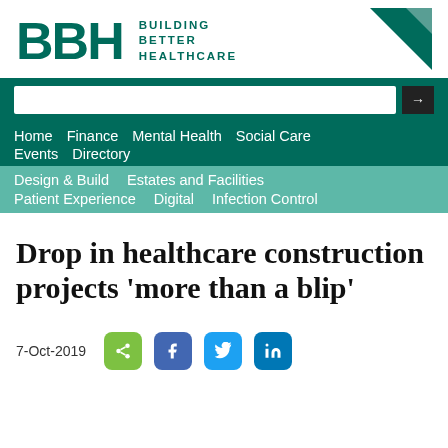[Figure (logo): BBH - Building Better Healthcare logo with teal triangle graphic]
Home   Finance   Mental Health   Social Care   Events   Directory
Design & Build   Estates and Facilities   Patient Experience   Digital   Infection Control
Drop in healthcare construction projects 'more than a blip'
7-Oct-2019